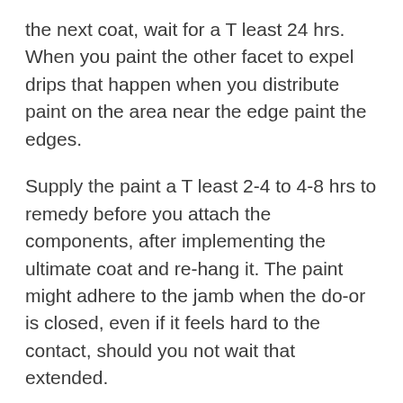the next coat, wait for a T least 24 hrs. When you paint the other facet to expel drips that happen when you distribute paint on the area near the edge paint the edges.
Supply the paint a T least 2-4 to 4-8 hrs to remedy before you attach the components, after implementing the ultimate coat and re-hang it. The paint might adhere to the jamb when the do-or is closed, even if it feels hard to the contact, should you not wait that extended.
See related